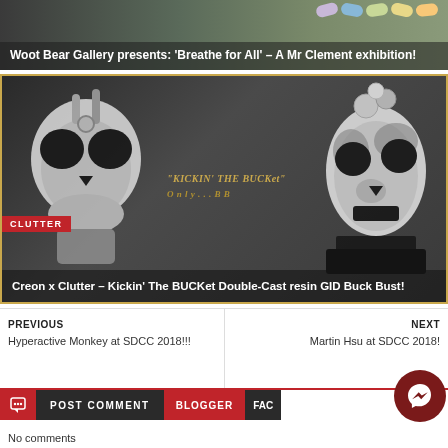[Figure (photo): Top banner image with colorful pill shapes, dark overlay with white bold text reading 'Woot Bear Gallery presents: Breathe for All – A Mr Clement exhibition!']
[Figure (photo): Card image with gold border showing two skull/bust sculptures on dark background with gold text 'KICKIN THE BUCKet' and red CLUTTER badge. Caption: 'Creon x Clutter – Kickin' The BUCKet Double-Cast resin GID Buck Bust!']
PREVIOUS
Hyperactive Monkey at SDCC 2018!!!
NEXT
Martin Hsu at SDCC 2018!
POST COMMENT    BLOGGER    FAC
No comments